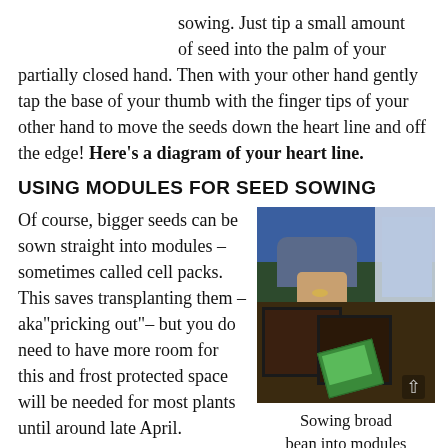sowing. Just tip a small amount of seed into the palm of your partially closed hand. Then with your other hand gently tap the base of your thumb with the finger tips of your other hand to move the seeds down the heart line and off the edge! Here’s a diagram of your heart line.
USING MODULES FOR SEED SOWING
Of course, bigger seeds can be sown straight into modules – sometimes called cell packs. This saves transplanting them –aka“pricking out”– but you do need to have more room for this and frost protected space will be needed for most plants until around late April.
[Figure (photo): A person in a blue top sowing broad bean seeds into module trays filled with dark compost, with a seed packet and bag of compost visible.]
Sowing broad bean into modules